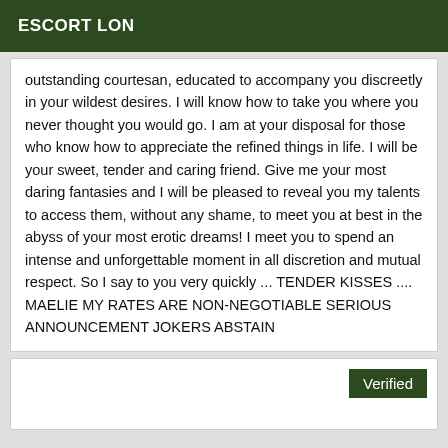ESCORT LON
outstanding courtesan, educated to accompany you discreetly in your wildest desires. I will know how to take you where you never thought you would go. I am at your disposal for those who know how to appreciate the refined things in life. I will be your sweet, tender and caring friend. Give me your most daring fantasies and I will be pleased to reveal you my talents to access them, without any shame, to meet you at best in the abyss of your most erotic dreams! I meet you to spend an intense and unforgettable moment in all discretion and mutual respect. So I say to you very quickly ... TENDER KISSES .... MAELIE MY RATES ARE NON-NEGOTIABLE SERIOUS ANNOUNCEMENT JOKERS ABSTAIN
Verified